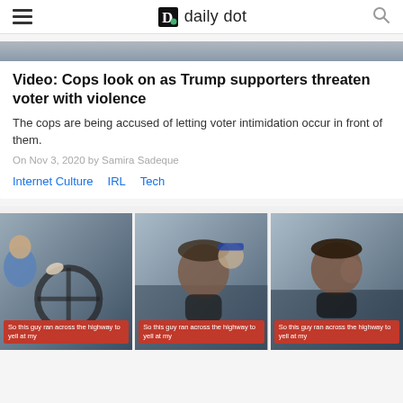daily dot
[Figure (screenshot): Partial image of article thumbnail at top]
Video: Cops look on as Trump supporters threaten voter with violence
The cops are being accused of letting voter intimidation occur in front of them.
On Nov 3, 2020 by Samira Sadeque
Internet Culture  IRL  Tech
[Figure (screenshot): Three video stills side by side from a car interior showing a person driving. Each frame has a red caption bar reading 'So this guy ran across the highway to yell at my']